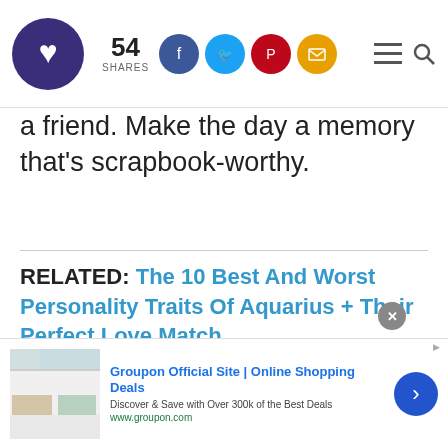54 SHARES — social sharing bar with Facebook, Twitter, Pinterest, Email icons and navigation menu/search icons, YourTango logo
a friend. Make the day a memory that's scrapbook-worthy.
RELATED: The 10 Best And Worst Personality Traits Of Aquarius + Their Perfect Love Match
[Figure (illustration): Teal/turquoise background with dark navy circle containing Pisces symbol (two arcs connected by horizontal bar) and cursive 'Pisces' text]
[Figure (screenshot): Groupon advertisement: 'Groupon Official Site | Online Shopping Deals' - Discover & Save with Over 300k of the Best Deals - www.groupon.com, with blue arrow button and ad images]